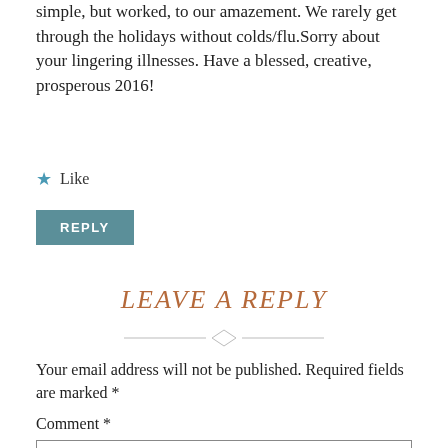simple, but worked, to our amazement. We rarely get through the holidays without colds/flu.Sorry about your lingering illnesses. Have a blessed, creative, prosperous 2016!
★ Like
REPLY
LEAVE A REPLY
[Figure (illustration): Decorative horizontal divider with a diamond shape in the center]
Your email address will not be published. Required fields are marked *
Comment *